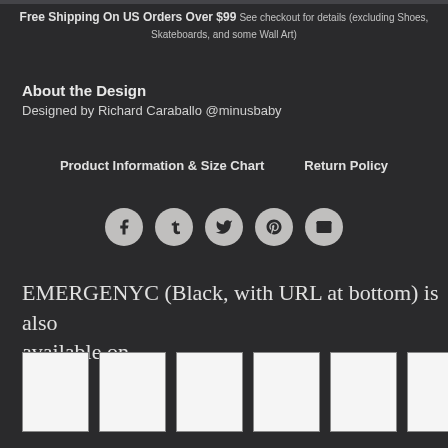Free Shipping On US Orders Over $99 See checkout for details (excluding Shoes, Skateboards, and some Wall Art)
About the Design
Designed by Richard Caraballo @minusbaby
Product Information & Size Chart    Return Policy
[Figure (infographic): Five social share icons in circles: Facebook, Tumblr, Twitter, Pinterest, Email]
EMERGENYC (Black, with URL at bottom) is also available on
[Figure (photo): Six white thumbnail product images in a row]